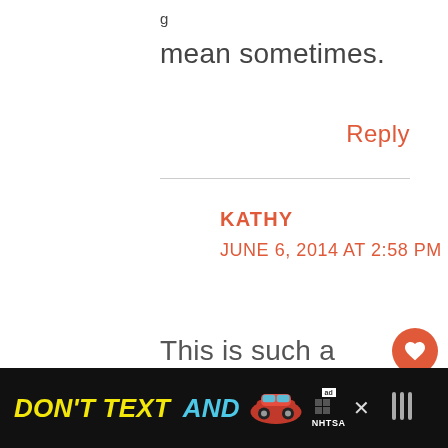mean sometimes.
Reply
KATHY
JUNE 6, 2014 AT 2:58 PM
This is such a problem. Thanks for addressing it.
[Figure (other): Advertisement banner: DON'T TEXT AND [car emoji] with ad badge and NHTSA logo on black background]